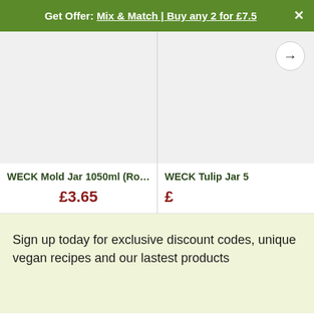Get Offer: Mix & Match | Buy any 2 for £7.5
[Figure (photo): Product image area for WECK Mold Jar 1050ml (Round ...) — light grey placeholder image]
[Figure (photo): Product image area for WECK Tulip Jar 5... — light grey placeholder with right arrow navigation button]
WECK Mold Jar 1050ml (Round ...
£3.65
WECK Tulip Jar 5
£
Sign up today for exclusive discount codes, unique vegan recipes and our lastest products